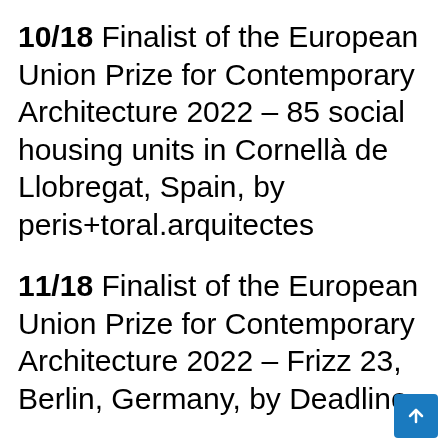10/18 Finalist of the European Union Prize for Contemporary Architecture 2022 – 85 social housing units in Cornellà de Llobregat, Spain, by peris+toral.arquitectes
11/18 Finalist of the European Union Prize for Contemporary Architecture 2022 – Frizz 23, Berlin, Germany, by Deadline